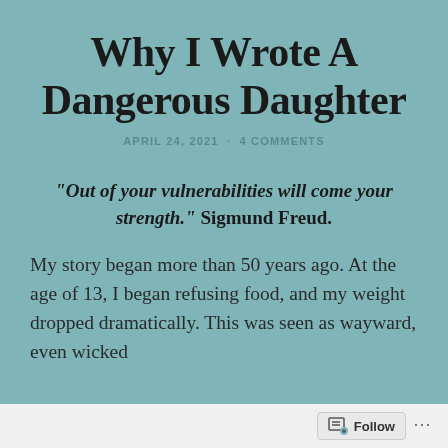Why I Wrote A Dangerous Daughter
APRIL 24, 2021 · 4 COMMENTS
“Out of your vulnerabilities will come your strength.” Sigmund Freud.
My story began more than 50 years ago. At the age of 13, I began refusing food, and my weight dropped dramatically. This was seen as wayward, even wicked